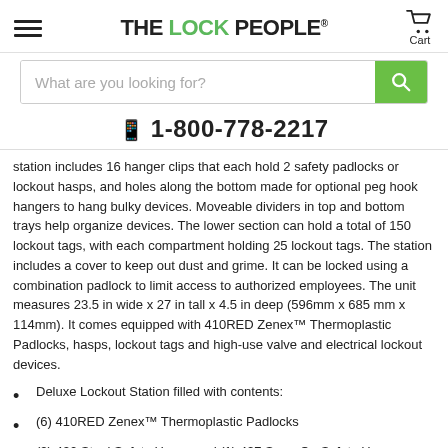THE LOCK PEOPLE.
[Figure (screenshot): Search bar with placeholder text 'What are you looking for?' and a green search button]
📱 1-800-778-2217
station includes 16 hanger clips that each hold 2 safety padlocks or lockout hasps, and holes along the bottom made for optional peg hook hangers to hang bulky devices. Moveable dividers in top and bottom trays help organize devices. The lower section can hold a total of 150 lockout tags, with each compartment holding 25 lockout tags. The station includes a cover to keep out dust and grime. It can be locked using a combination padlock to limit access to authorized employees. The unit measures 23.5 in wide x 27 in tall x 4.5 in deep (596mm x 685 mm x 114mm). It comes equipped with 410RED Zenex™ Thermoplastic Padlocks, hasps, lockout tags and high-use valve and electrical lockout devices.
Deluxe Lockout Station filled with contents:
(6) 410RED Zenex™ Thermoplastic Padlocks
(2) 420 Steel Safety Hasps and (1) 427 Snap-On Safety Hasp
(1) S806 Adjustable Cable Lockout